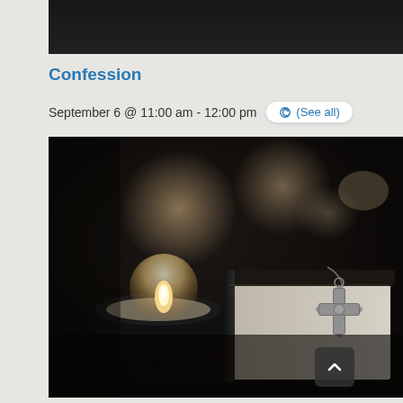[Figure (photo): Top portion of a dark image, partially cropped at the top of the page]
Confession
September 6 @ 11:00 am - 12:00 pm   (See all)
[Figure (photo): A silver crucifix necklace resting on a Bible/book, with a lit candle in the background, blurred bokeh lights, dark moody atmosphere]